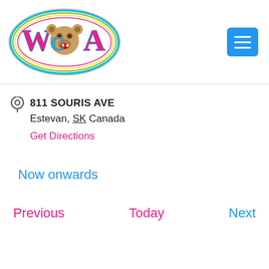[Figure (logo): WCA logo — colorful oval with letters W, C, A and a roaring bear head in the center, multi-color outline style]
811 SOURIS AVE
Estevan, SK Canada
Get Directions
Now onwards
Previous
Today
Next